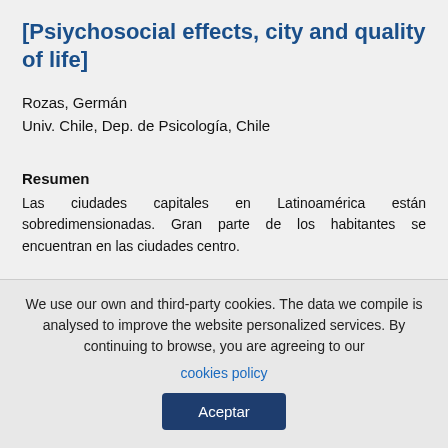[Psiychosocial effects, city and quality of life]
Rozas, Germán
Univ. Chile, Dep. de Psicología, Chile
Resumen
Las ciudades capitales en Latinoamérica están sobredimensionadas. Gran parte de los habitantes se encuentran en las ciudades centro.
We use our own and third-party cookies. The data we compile is analysed to improve the website personalized services. By continuing to browse, you are agreeing to our cookies policy
Aceptar